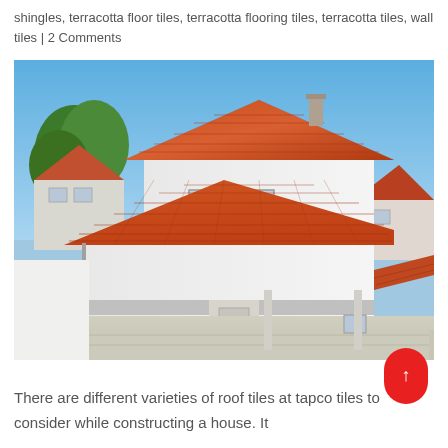shingles, terracotta floor tiles, terracotta flooring tiles, terracotta tiles, wall tiles | 2 Comments
[Figure (photo): Aerial/elevated view of a modern white house with terracotta/orange clay roof tiles, showing multiple roof sections, windows, an entrance with steps, and neighboring houses in the background with trees and a blue sky.]
There are different varieties of roof tiles at tapco tiles to consider while constructing a house. It